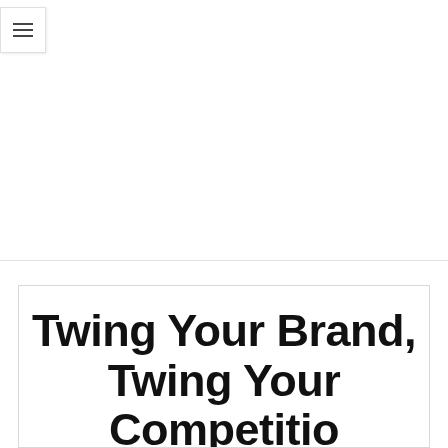[Figure (other): Hamburger menu button icon (three horizontal lines) in a white box with light border, positioned top-left]
Twing Your Brand, Twing Your Competition